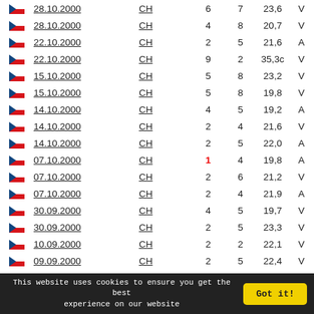| Flag | Date | CH | Col1 | Col2 | Score | V/A |
| --- | --- | --- | --- | --- | --- | --- |
| CZ | 28.10.2000 | CH | 6 | 7 | 23,6 | V |
| CZ | 28.10.2000 | CH | 4 | 8 | 20,7 | V |
| CZ | 22.10.2000 | CH | 2 | 5 | 21,6 | A |
| CZ | 22.10.2000 | CH | 9 | 2 | 35,3c | V |
| CZ | 15.10.2000 | CH | 5 | 8 | 23,2 | V |
| CZ | 15.10.2000 | CH | 5 | 8 | 19,8 | V |
| CZ | 14.10.2000 | CH | 4 | 5 | 19,2 | A |
| CZ | 14.10.2000 | CH | 2 | 4 | 21,6 | V |
| CZ | 14.10.2000 | CH | 2 | 5 | 22,0 | A |
| CZ | 07.10.2000 | CH | 1 | 4 | 19,8 | A |
| CZ | 07.10.2000 | CH | 2 | 6 | 21,2 | V |
| CZ | 07.10.2000 | CH | 2 | 4 | 21,9 | A |
| CZ | 30.09.2000 | CH | 4 | 5 | 19,7 | V |
| CZ | 30.09.2000 | CH | 2 | 5 | 23,3 | V |
| CZ | 10.09.2000 | CH | 2 | 2 | 22,1 | V |
| CZ | 09.09.2000 | CH | 2 | 5 | 22,4 | V |
This website uses cookies to ensure you get the best experience on our website  Got it!